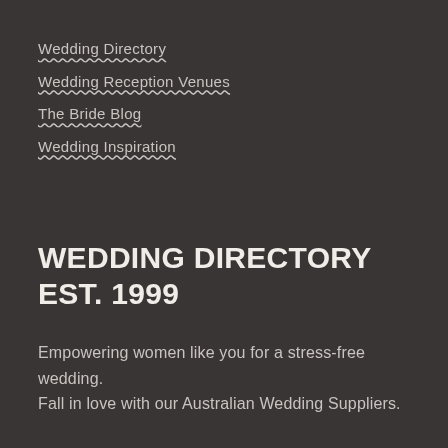Wedding Directory
Wedding Reception Venues
The Bride Blog
Wedding Inspiration
WEDDING DIRECTORY EST. 1999
Empowering women like you for a stress-free wedding. Fall in love with our Australian Wedding Suppliers.